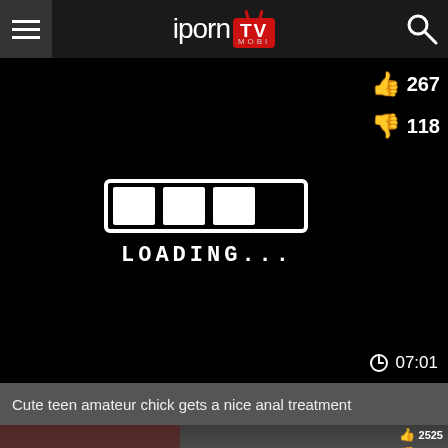iporn TV MOBI
[Figure (screenshot): Video player showing a black loading screen with a hand-drawn loading bar and 'LOADING...' text. Duration 07:01 shown bottom right. Like count 267, dislike count 118 shown top right.]
Cute teen amateur chick gets a nice anal treatment
[Figure (photo): Video thumbnail showing a man and woman outdoors near a car. Like count 2525, dislike count 1424.]